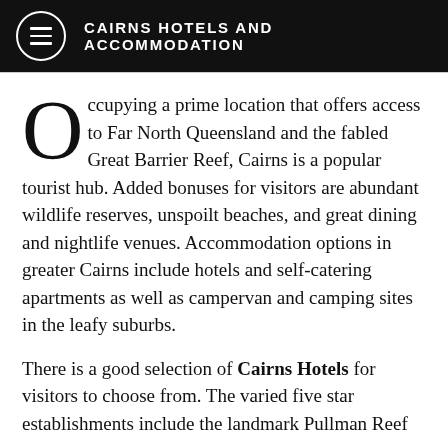CAIRNS HOTELS AND ACCOMMODATION
Occupying a prime location that offers access to Far North Queensland and the fabled Great Barrier Reef, Cairns is a popular tourist hub. Added bonuses for visitors are abundant wildlife reserves, unspoilt beaches, and great dining and nightlife venues. Accommodation options in greater Cairns include hotels and self-catering apartments as well as campervan and camping sites in the leafy suburbs.
There is a good selection of Cairns Hotels for visitors to choose from. The varied five star establishments include the landmark Pullman Reef